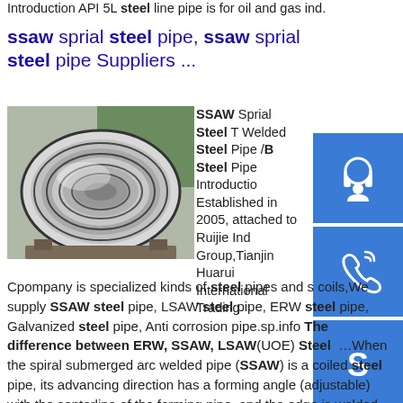Introduction API 5L steel line pipe is for oil and gas ind.
ssaw sprial steel pipe, ssaw sprial steel pipe Suppliers ...
[Figure (photo): Photo of coiled steel pipe / steel strip coils in a warehouse setting]
SSAW Sprial Steel T Welded Steel Pipe /B Steel Pipe Introduction Established in 2005, attached to Ruijie Ind Group,Tianjin Huarui International Trading Cpompany is specialized kinds of steel pipes and s coils,We supply SSAW steel pipe, LSAW steel pipe, ERW steel pipe, Galvanized steel pipe, Anti corrosion pipe.sp.info The difference between ERW, SSAW, LSAW(UOE) Steel ...When the spiral submerged arc welded pipe (SSAW) is a coiled steel pipe, its advancing direction has a forming angle (adjustable) with the centerline of the forming pipe, and the edge is welded